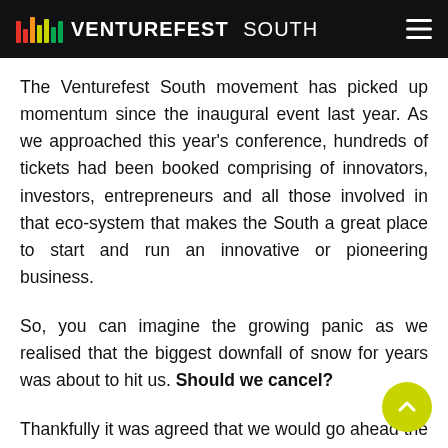VENTUREFEST SOUTH
The Venturefest South movement has picked up momentum since the inaugural event last year. As we approached this year's conference, hundreds of tickets had been booked comprising of innovators, investors, entrepreneurs and all those involved in that eco-system that makes the South a great place to start and run an innovative or pioneering business.
So, you can imagine the growing panic as we realised that the biggest downfall of snow for years was about to hit us. Should we cancel?
Thankfully it was agreed that we would go ahead the snow couldn't stop us. The decision proved to